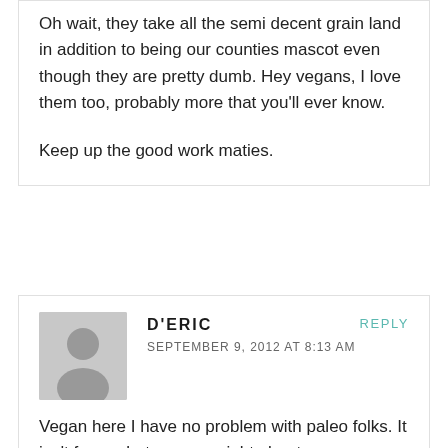Oh wait, they take all the semi decent grain land in addition to being our counties mascot even though they are pretty dumb. Hey vegans, I love them too, probably more that you'll ever know.
Keep up the good work maties.
D'ERIC
SEPTEMBER 9, 2012 AT 8:13 AM
Vegan here I have no problem with paleo folks. It isn't for me but, you are right about